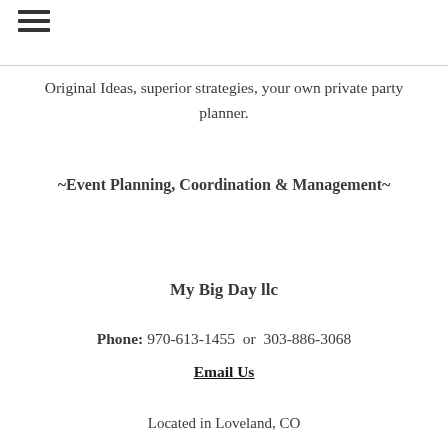[Figure (other): Hamburger menu icon (three horizontal lines)]
Original Ideas, superior strategies, your own private party planner.
~Event Planning, Coordination & Management~
My Big Day llc
Phone: 970-613-1455  or  303-886-3068
Email Us
Located in Loveland, CO